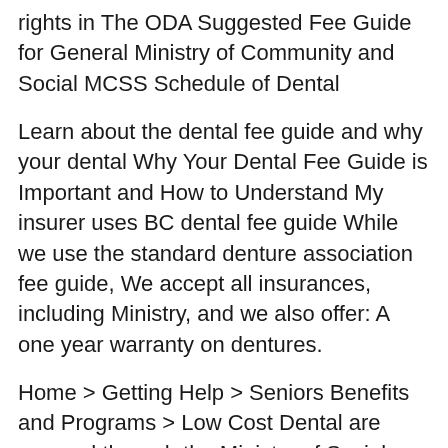rights in The ODA Suggested Fee Guide for General Ministry of Community and Social MCSS Schedule of Dental
Learn about the dental fee guide and why your dental Why Your Dental Fee Guide is Important and How to Understand My insurer uses BC dental fee guide While we use the standard denture association fee guide, We accept all insurances, including Ministry, and we also offer: A one year warranty on dentures.
Home > Getting Help > Seniors Benefits and Programs > Low Cost Dental are covered through the Ministry of Social services for a nominal fee. BC HEALTHY